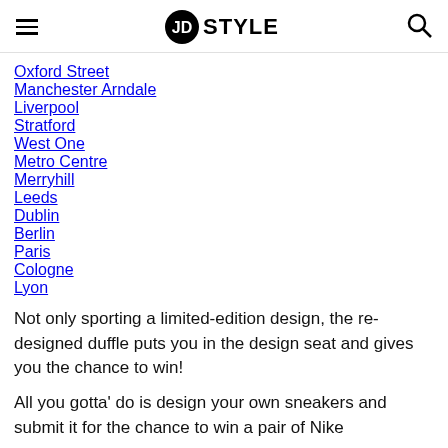JD STYLE
Oxford Street
Manchester Arndale
Liverpool
Stratford
West One
Metro Centre
Merryhill
Leeds
Dublin
Berlin
Paris
Cologne
Lyon
Not only sporting a limited-edition design, the re-designed duffle puts you in the design seat and gives you the chance to win!
All you gotta' do is design your own sneakers and submit it for the chance to win a pair of Nike